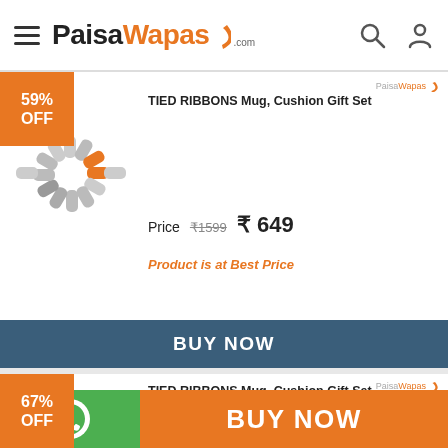PaisaWapas.com
[Figure (screenshot): Product card 1: 59% OFF badge, loading spinner, TIED RIBBONS Mug Cushion Gift Set, Price ₹1599 ₹649, Product is at Best Price, BUY NOW button]
[Figure (screenshot): Product card 2: 67% OFF badge, loading spinner, TIED RIBBONS Mug Cushion Gift Set, Price ₹1599 ₹519]
BUY NOW